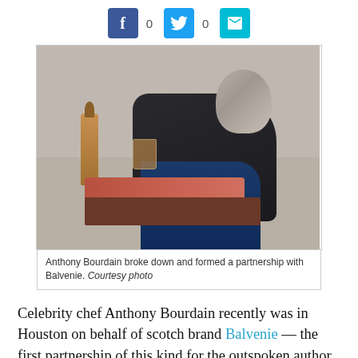[Figure (photo): Social sharing bar with Facebook button (count: 0), Twitter button (count: 0), and email button]
[Figure (photo): Anthony Bourdain sitting on a couch in a room holding a glass of whiskey, with a bottle of Balvenie scotch on the table beside him. He is wearing a dark sweater and jeans, with gray hair, looking to the side.]
Anthony Bourdain broke down and formed a partnership with Balvenie. Courtesy photo
Celebrity chef Anthony Bourdain recently was in Houston on behalf of scotch brand Balvenie — the first partnership of this kind for the outspoken author and host of CNN's